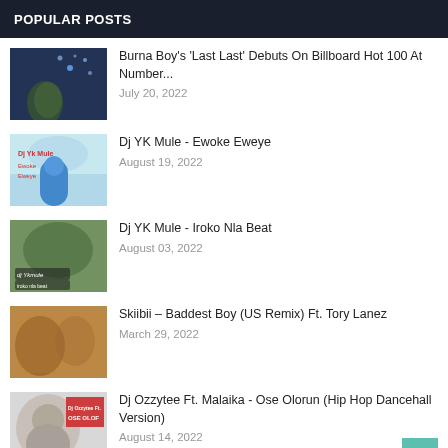POPULAR POSTS
Burna Boy's 'Last Last' Debuts On Billboard Hot 100 At Number...
July 20, 2022
Dj YK Mule - Ewoke Eweye
August 19, 2022
Dj YK Mule - Iroko Nla Beat
August 03, 2022
Skiibii – Baddest Boy (US Remix) Ft. Tory Lanez
March 29, 2022
Dj Ozzytee Ft. Malaika - Ose Olorun (Hip Hop Dancehall Version)
August 14, 2022